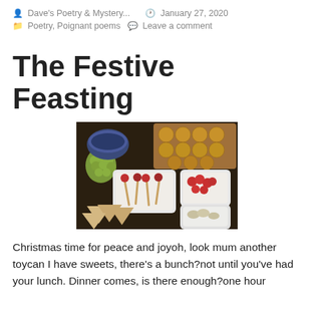Dave's Poetry & Mystery...  January 27, 2020  Poetry, Poignant poems  Leave a comment
The Festive Feasting
[Figure (photo): A festive food spread showing party food: grapes, mini pies/tarts, skewered appetizers in white bowls, cherry tomatoes, mushrooms, and triangular crackers/sandwiches on a dark wooden surface.]
Christmas time for peace and joyoh, look mum another toycan I have sweets, there's a bunch?not until you've had your lunch. Dinner comes, is there enough?one hour